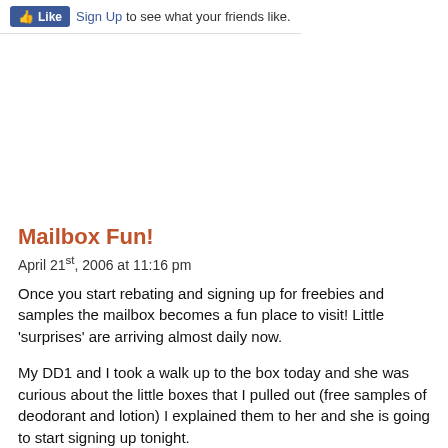Like Sign Up to see what your friends like.
Mailbox Fun!
April 21st, 2006 at 11:16 pm
Once you start rebating and signing up for freebies and samples the mailbox becomes a fun place to visit! Little 'surprises' are arriving almost daily now.
My DD1 and I took a walk up to the box today and she was curious about the little boxes that I pulled out (free samples of deodorant and lotion) I explained them to her and she is going to start signing up tonight.
Yesterday I received a $20 cash reward check from the CC I use (and